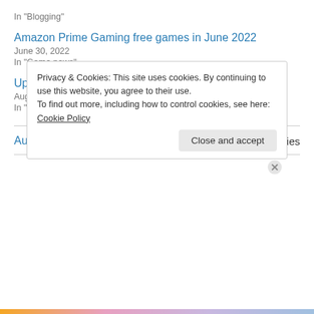In "Blogging"
Amazon Prime Gaming free games in June 2022
June 30, 2022
In "Game news"
Upcoming gaming events: devcom digital 2020
August 7, 2020
In "Game news"
August 26, 2017
32 Replies
Privacy & Cookies: This site uses cookies. By continuing to use this website, you agree to their use. To find out more, including how to control cookies, see here: Cookie Policy
Close and accept